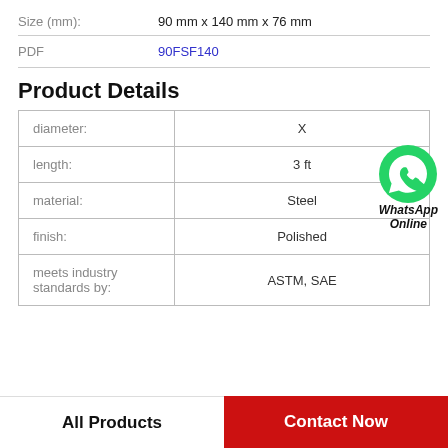|  |  |
| --- | --- |
| Size (mm): | 90 mm x 140 mm x 76 mm |
| PDF | 90FSF140 |
Product Details
| Property | Value |
| --- | --- |
| diameter: | X |
| length: | 3 ft |
| material: | Steel |
| finish: | Polished |
| meets industry standards by: | ASTM, SAE |
[Figure (logo): WhatsApp Online button with green WhatsApp icon and bold italic text 'WhatsApp Online']
All Products
Contact Now